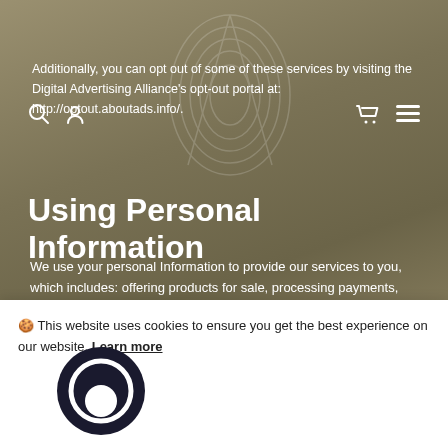Additionally, you can opt out of some of these services by visiting the Digital Advertising Alliance's opt-out portal at: http://optout.aboutads.info/.
Using Personal Information
We use your personal Information to provide our services to you, which includes: offering products for sale, processing payments, shipping and fulfillment of your order, and keeping you up to date on new products, services, and offers.
Lawful basis
Pursuant to the General Data Protection Regulation
🍪 This website uses cookies to ensure you get the best experience on our website. Learn more